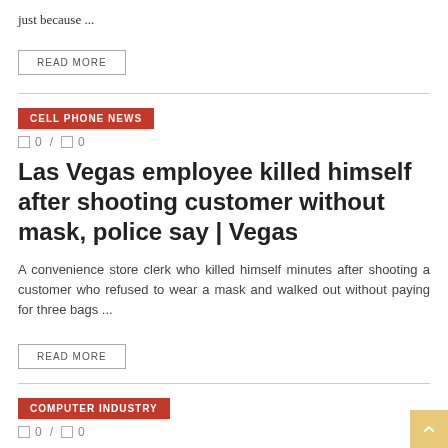just because ...
READ MORE
CELL PHONE NEWS
0 / 0
Las Vegas employee killed himself after shooting customer without mask, police say | Vegas
A convenience store clerk who killed himself minutes after shooting a customer who refused to wear a mask and walked out without paying for three bags ...
READ MORE
COMPUTER INDUSTRY
0 / 0